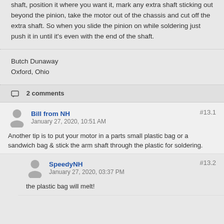shaft, position it where you want it, mark any extra shaft sticking out beyond the pinion, take the motor out of the chassis and cut off the extra shaft. So when you slide the pinion on while soldering just push it in until it's even with the end of the shaft.
Butch Dunaway
Oxford, Ohio
2 comments
Bill from NH commented
January 27, 2020, 10:51 AM
#13.1
Another tip is to put your motor in a parts small plastic bag or a sandwich bag & stick the arm shaft through the plastic for soldering.
SpeedyNH commented
January 27, 2020, 03:37 PM
#13.2
the plastic bag will melt!